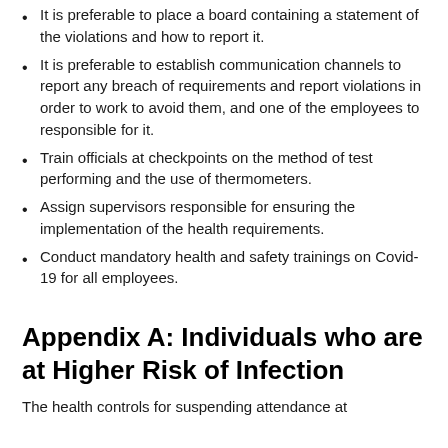It is preferable to place a board containing a statement of the violations and how to report it.
It is preferable to establish communication channels to report any breach of requirements and report violations in order to work to avoid them, and one of the employees to responsible for it.
Train officials at checkpoints on the method of test performing and the use of thermometers.
Assign supervisors responsible for ensuring the implementation of the health requirements.
Conduct mandatory health and safety trainings on Covid-19 for all employees.
Appendix A: Individuals who are at Higher Risk of Infection
The health controls for suspending attendance at